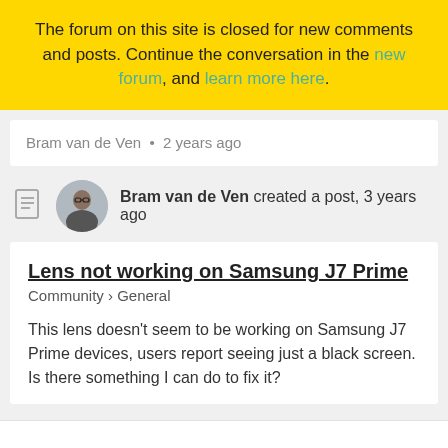The forum on this site is closed for new comments and posts. Continue the conversation in the new forum, and learn more here.
Bram van de Ven • 2 years ago
Bram van de Ven created a post, 3 years ago
Lens not working on Samsung J7 Prime
Community › General
This lens doesn't seem to be working on Samsung J7 Prime devices, users report seeing just a black screen. Is there something I can do to fix it?